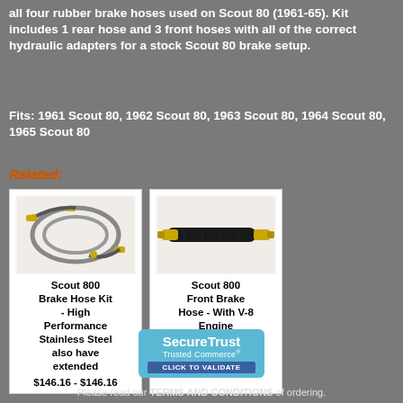all four rubber brake hoses used on Scout 80 (1961-65). Kit includes 1 rear hose and 3 front hoses with all of the correct hydraulic adapters for a stock Scout 80 brake setup.
Fits: 1961 Scout 80, 1962 Scout 80, 1963 Scout 80, 1964 Scout 80, 1965 Scout 80
Related:
[Figure (photo): Scout 800 Brake Hose Kit - multiple rubber hoses with brass fittings]
Scout 800 Brake Hose Kit - High Performance Stainless Steel also have extended $146.16 - $146.16
[Figure (photo): Scout 800 Front Brake Hose - single black rubber hose with brass fittings]
Scout 800 Front Brake Hose - With V-8 Engine $51.47
[Figure (logo): SecureTrust Trusted Commerce - Click to Validate badge]
Please read our TERMS AND CONDITIONS of ordering.